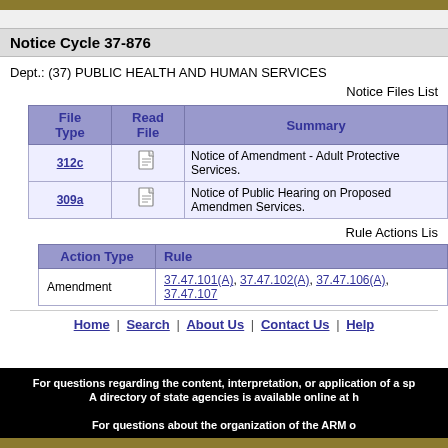Notice Cycle 37-876
Dept.: (37) PUBLIC HEALTH AND HUMAN SERVICES
Notice Files Lis
| File Type | Read File | Summary |
| --- | --- | --- |
| 312c | [icon] | Notice of Amendment - Adult Protective Services. |
| 309a | [icon] | Notice of Public Hearing on Proposed Amendmen Services. |
Rule Actions Lis
| Action Type | Rule |
| --- | --- |
| Amendment | 37.47.101(A), 37.47.102(A), 37.47.106(A), 37.47.107 |
Home | Search | About Us | Contact Us | Help
For questions regarding the content, interpretation, or application of a sp A directory of state agencies is available online at h For questions about the organization of the ARM o